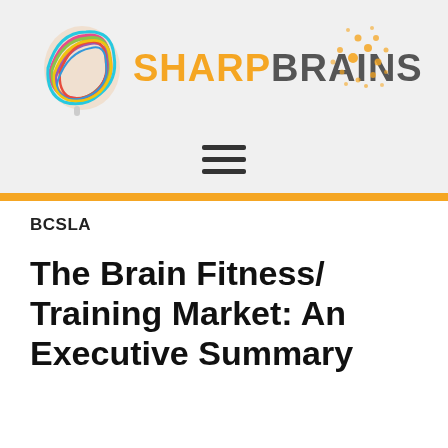[Figure (logo): SharpBrains logo with colorful brain illustration and orange/gray wordmark, plus decorative dot cluster]
SHARPBRAINS
BCSLA
The Brain Fitness/ Training Market: An Executive Summary